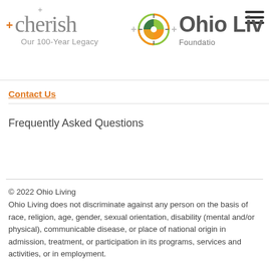[Figure (logo): Cherish Our 100-Year Legacy and Ohio Living Foundation logo with circular icon, plus signs, and hamburger menu icon in top right corner]
Contact Us
Frequently Asked Questions
© 2022 Ohio Living
Ohio Living does not discriminate against any person on the basis of race, religion, age, gender, sexual orientation, disability (mental and/or physical), communicable disease, or place of national origin in admission, treatment, or participation in its programs, services and activities, or in employment.